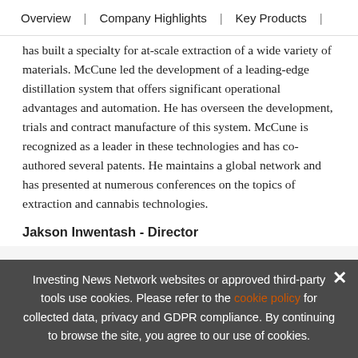Overview  |  Company Highlights  |  Key Products  |
has built a specialty for at-scale extraction of a wide variety of materials. McCune led the development of a leading-edge distillation system that offers significant operational advantages and automation. He has overseen the development, trials and contract manufacture of this system. McCune is recognized as a leader in these technologies and has co-authored several patents. He maintains a global network and has presented at numerous conferences on the topics of extraction and cannabis technologies.
Jakson Inwentash - Director
Jakson Inwentash is a Director and VP Investments at ThreeD Capital, where he focuses on identifying, researching, and
Investing News Network websites or approved third-party tools use cookies. Please refer to the cookie policy for collected data, privacy and GDPR compliance. By continuing to browse the site, you agree to our use of cookies.